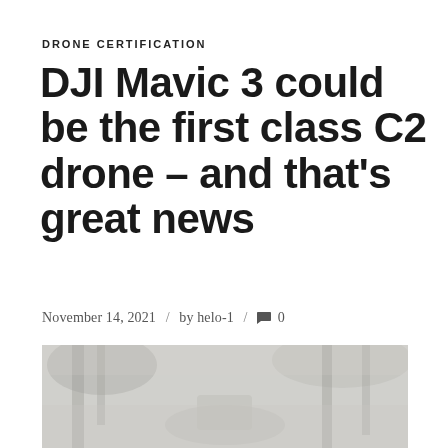DRONE CERTIFICATION
DJI Mavic 3 could be the first class C2 drone – and that's great news
November 14, 2021  /  by helo-1  /  💬 0
[Figure (photo): Blurred grayscale photo of a drone outdoors among trees]